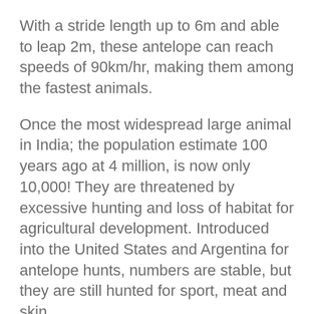With a stride length up to 6m and able to leap 2m, these antelope can reach speeds of 90km/hr, making them among the fastest animals.
Once the most widespread large animal in India; the population estimate 100 years ago at 4 million, is now only 10,000! They are threatened by excessive hunting and loss of habitat for agricultural development. Introduced into the United States and Argentina for antelope hunts, numbers are stable, but they are still hunted for sport, meat and skin.
At Hamilton Zoo:
We have a herd of blackbuck living in our